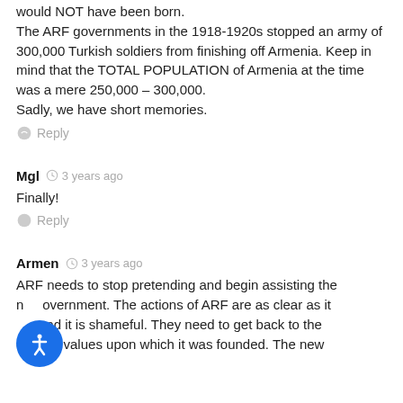would NOT have been born. The ARF governments in the 1918-1920s stopped an army of 300,000 Turkish soldiers from finishing off Armenia. Keep in mind that the TOTAL POPULATION of Armenia at the time was a mere 250,000 – 300,000. Sadly, we have short memories.
Reply
Mgl  3 years ago
Finally!
Reply
Armen  3 years ago
ARF needs to stop pretending and begin assisting the government. The actions of ARF are as clear as it and it is shameful. They need to get back to the original values upon which it was founded. The new